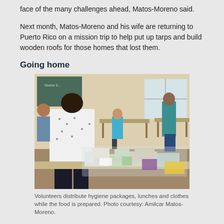face of the many challenges ahead, Matos-Moreno said.
Next month, Matos-Moreno and his wife are returning to Puerto Rico on a mission trip to help put up tarps and build wooden roofs for those homes that lost them.
Going home
[Figure (photo): Volunteers distributing hygiene packages, lunches and clothes in a community center. A woman in a white patterned top stands at a table covered with packaged goods. Other people are visible in the background.]
Volunteers distribute hygiene packages, lunches and clothes while the food is prepared. Photo courtesy: Amilcar Matos-Moreno.